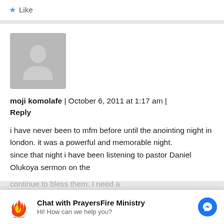Like
[Figure (screenshot): User avatar placeholder - grey silhouette of a person]
moji komolafe | October 6, 2011 at 1:17 am | Reply
i have never been to mfm before until the anointing night in london. it was a powerful and memorable night. since that night i have been listening to pastor Daniel Olukoya sermon on the
[Figure (screenshot): Chat widget for PrayersFire Ministry with logo, text 'Chat with PrayersFire Ministry' and 'Hi! How can we help you?' and a Messenger icon]
continue to bless them. I need a